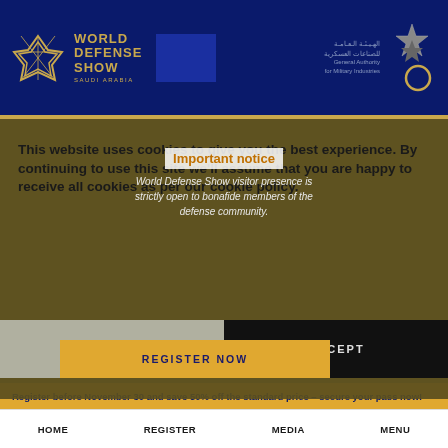[Figure (logo): World Defense Show Saudi Arabia logo with golden star/geometric emblem on dark navy blue header, alongside General Authority for Military Industries Arabic and English text with grey star emblem]
This website uses cookies to give you the best experience. By continuing to use this site we'll assume that you are happy to receive all cookies as per our cookie policy.
Important notice
World Defense Show visitor presence is strictly open to bonafide members of the defense community.
COOKIES POLICY
ACCEPT
REGISTER NOW
Register before November 30 and save 50% off the standard price – secure your pass now!
HOME    REGISTER    MEDIA    MENU